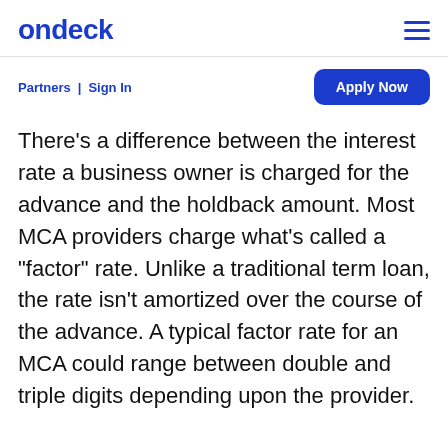ondeck
Partners | Sign In
Apply Now
There’s a difference between the interest rate a business owner is charged for the advance and the holdback amount. Most MCA providers charge what’s called a “factor” rate. Unlike a traditional term loan, the rate isn’t amortized over the course of the advance. A typical factor rate for an MCA could range between double and triple digits depending upon the provider.